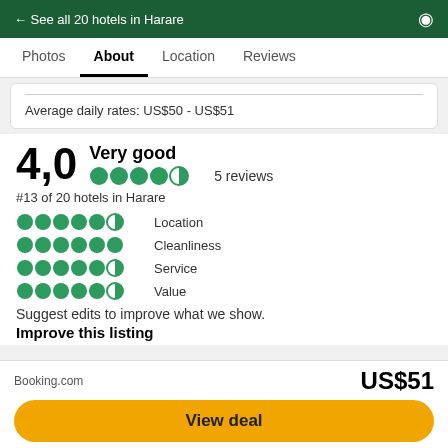← See all 20 hotels in Harare
Photos  About  Location  Reviews
Average daily rates: US$50 - US$51
4,0  Very good  ●●●●●○  5 reviews
#13 of 20 hotels in Harare
Location
Cleanliness
Service
Value
Suggest edits to improve what we show.
Improve this listing
Booking.com   US$51   View deal